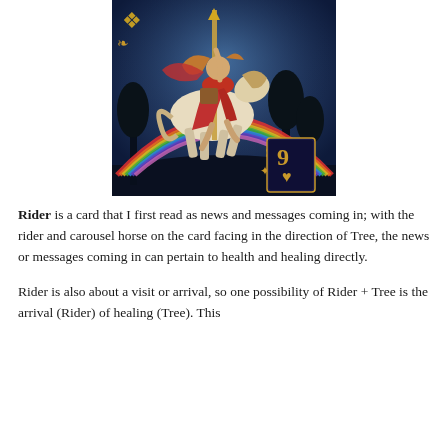[Figure (illustration): Tarot or oracle card illustration showing a woman in red dress riding a decorated carousel horse over a rainbow against a dark blue mystical sky background, with a playing card (9 of hearts) in the lower right corner and ornate gold decorative flourishes.]
Rider is a card that I first read as news and messages coming in; with the rider and carousel horse on the card facing in the direction of Tree, the news or messages coming in can pertain to health and healing directly.
Rider is also about a visit or arrival, so one possibility of Rider + Tree is the arrival (Rider) of healing (Tree). This